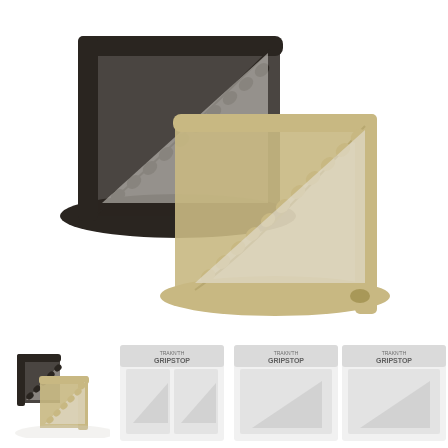[Figure (photo): Two GRIPSTOP devices shown overlapping: one dark/black colored device in the upper-left, and one tan/gold colored device in the lower-right. Each device has a triangular bracket shape with serrated/ribbed edges along the hypotenuse, mounted on an oval base with mounting holes.]
[Figure (photo): Small image showing both black and tan/gold GRIPSTOP devices side by side at a smaller scale.]
[Figure (photo): Packaging card for GRIPSTOP product showing two units, branded with TRAKN'TH GRIPSTOP logo, slightly faded/ghosted appearance.]
[Figure (photo): Packaging card for GRIPSTOP product showing a single unit, branded with TRAKN'TH GRIPSTOP logo, slightly faded/ghosted appearance.]
[Figure (photo): Packaging card for GRIPSTOP product showing a single unit, branded with TRAKN'TH GRIPSTOP logo, slightly faded/ghosted appearance.]